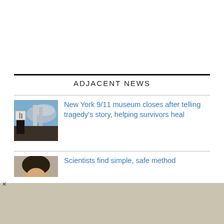ADJACENT NEWS
[Figure (photo): Photograph showing a person holding up a picture of the Twin Towers against a blue sky with smoke]
New York 9/11 museum closes after telling tragedy's story, helping survivors heal
[Figure (photo): Partial thumbnail image showing a person's face, partially cut off]
Scientists find simple, safe method